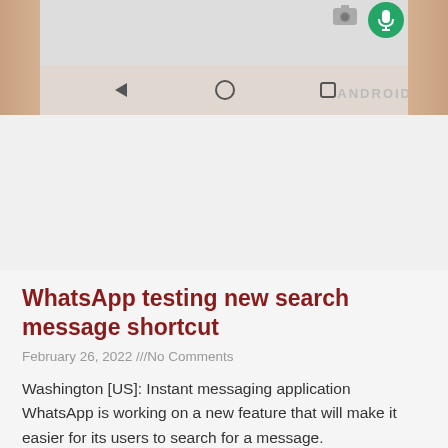[Figure (photo): A hand holding an Android smartphone showing the bottom navigation bar with back, home, and recents buttons. The screen partially shows a WhatsApp interface with a camera icon and green microphone button. The word ANDROID is watermarked in gray on the right side.]
WhatsApp testing new search message shortcut
February 26, 2022 ///No Comments
Washington [US]: Instant messaging application WhatsApp is working on a new feature that will make it easier for its users to search for a message.
Read More...